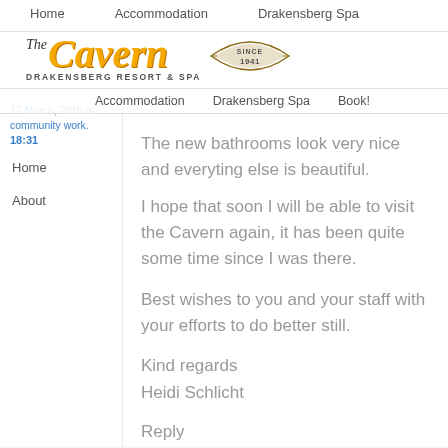Home   Accommodation   Drakensberg Spa
[Figure (logo): The Cavern Drakensberg Resort & Spa logo with 'Since 1941' banner]
Home   Accommodation   Drakensberg Spa
17 March, 2010 at community work.
18:31
Home   Accommodation   Drakensberg Spa   About   Book!
The new bathrooms look very nice and everyting else is beautiful.

I hope that soon I will be able to visit the Cavern again, it has been quite some time since I was there.

Best wishes to you and your staff with your efforts to do better still.

Kind regards
Heidi Schlicht
Reply